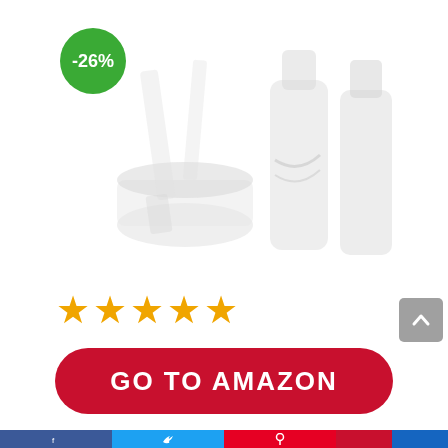[Figure (photo): Faded/light product image showing skincare or cosmetic items including jars, tubes, and spatulas on white background]
-26%
[Figure (other): Five gold star rating icons]
GO TO AMAZON
Amazon.com
[Figure (other): Social sharing bar with Facebook, Twitter, Pinterest icons at bottom]